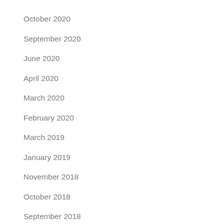October 2020
September 2020
June 2020
April 2020
March 2020
February 2020
March 2019
January 2019
November 2018
October 2018
September 2018
March 2018